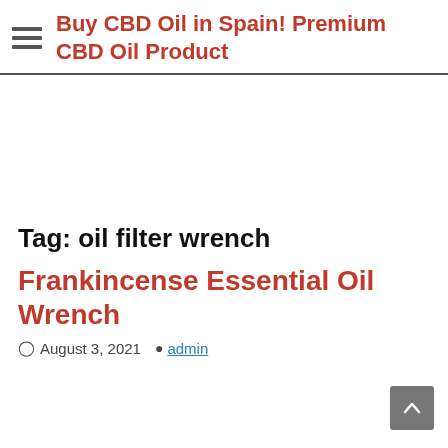Buy CBD Oil in Spain! Premium CBD Oil Product
Tag: oil filter wrench
Frankincense Essential Oil Wrench
August 3, 2021  admin